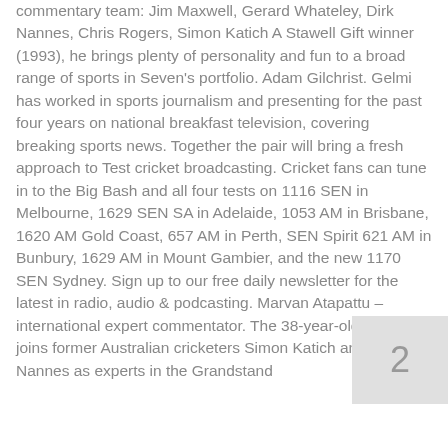commentary team: Jim Maxwell, Gerard Whateley, Dirk Nannes, Chris Rogers, Simon Katich A Stawell Gift winner (1993), he brings plenty of personality and fun to a broad range of sports in Seven's portfolio. Adam Gilchrist. Gelmi has worked in sports journalism and presenting for the past four years on national breakfast television, covering breaking sports news. Together the pair will bring a fresh approach to Test cricket broadcasting. Cricket fans can tune in to the Big Bash and all four tests on 1116 SEN in Melbourne, 1629 SEN SA in Adelaide, 1053 AM in Brisbane, 1620 AM Gold Coast, 657 AM in Perth, SEN Spirit 621 AM in Bunbury, 1629 AM in Mount Gambier, and the new 1170 SEN Sydney. Sign up to our free daily newsletter for the latest in radio, audio & podcasting. Marvan Atapattu – international expert commentator. The 38-year-old Rogers joins former Australian cricketers Simon Katich and Dirk Nannes as experts in the Grandstand
2